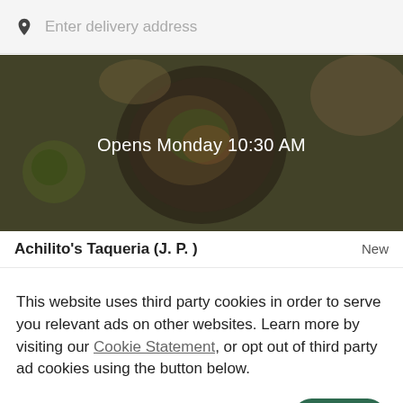Enter delivery address
[Figure (photo): Overhead view of Mexican food dishes with dark overlay, showing bowl of rice/salad and other plates, with text 'Opens Monday 10:30 AM' centered]
Achilito's Taqueria (J. P. )
New
This website uses third party cookies in order to serve you relevant ads on other websites. Learn more by visiting our Cookie Statement, or opt out of third party ad cookies using the button below.
OPT OUT
GOT IT